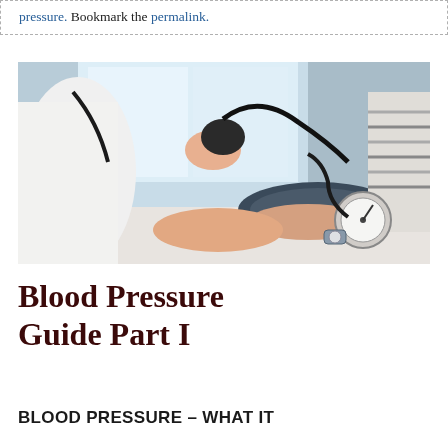pressure. Bookmark the permalink.
[Figure (photo): A doctor or nurse measuring a patient's blood pressure using a sphygmomanometer cuff on the patient's arm, with the bulb squeeze pump visible and a stethoscope around the clinician's neck. Clinical setting with bright window in background.]
Blood Pressure Guide Part I
BLOOD PRESSURE – WHAT IT